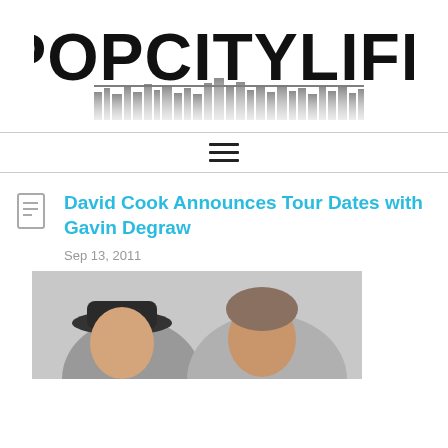[Figure (logo): POPCITYLIFE logo with city skyline silhouette underneath the bold text]
[Figure (other): Hamburger menu icon (three horizontal lines)]
David Cook Announces Tour Dates with Gavin Degraw
Sep 13, 2011
[Figure (photo): Photo of two people, one wearing a black hat, cropped at bottom of page]